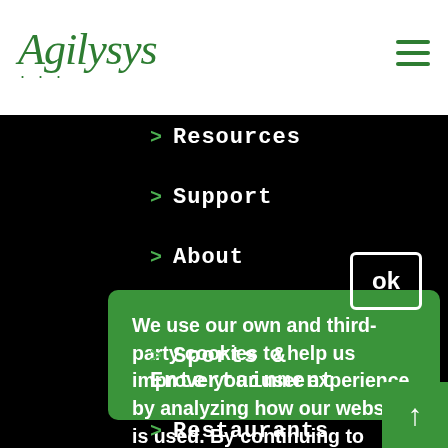Agilysys...
> Resources
> Support
> About
We use our own and third-party cookies to help us improve your user experience by analyzing how our website is used. By continuing to browse the website, you accept our use of cookies. For further information, please read our Cookies Policy.
> Sports & Entertainment
> Restaurants